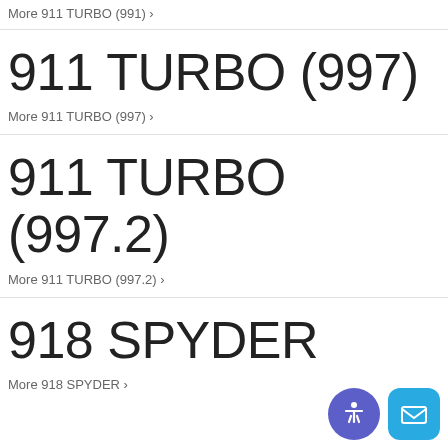More 911 TURBO (991) ›
911 TURBO (997)
More 911 TURBO (997) ›
911 TURBO (997.2)
More 911 TURBO (997.2) ›
918 SPYDER
More 918 SPYDER ›